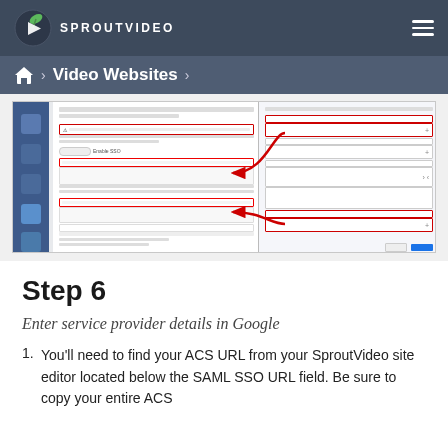SPROUTVIDEO
Video Websites
[Figure (screenshot): Screenshot of SproutVideo site editor and Google SAML SSO configuration panel side by side, with red arrows pointing to ACS URL and Certificate Fingerprint fields.]
Step 6
Enter service provider details in Google
You'll need to find your ACS URL from your SproutVideo site editor located below the SAML SSO URL field. Be sure to copy your entire ACS